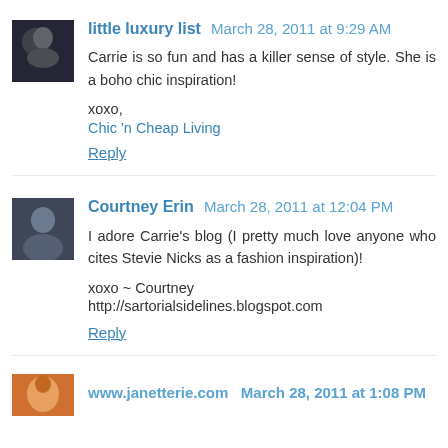[Figure (photo): Small avatar photo of a person, dark tones, square thumbnail]
little luxury list  March 28, 2011 at 9:29 AM
Carrie is so fun and has a killer sense of style. She is a boho chic inspiration!

xoxo,
Chic 'n Cheap Living

Reply
[Figure (photo): Small avatar photo of a woman with dark hair, blue-grey tones, square thumbnail]
Courtney Erin  March 28, 2011 at 12:04 PM
I adore Carrie's blog (I pretty much love anyone who cites Stevie Nicks as a fashion inspiration)!

xoxo ~ Courtney
http://sartorialsidelines.blogspot.com

Reply
[Figure (photo): Partial avatar photo, warm orange tones, partially visible at bottom]
www.janetterie.com  March 28, 2011 at 1:08 PM